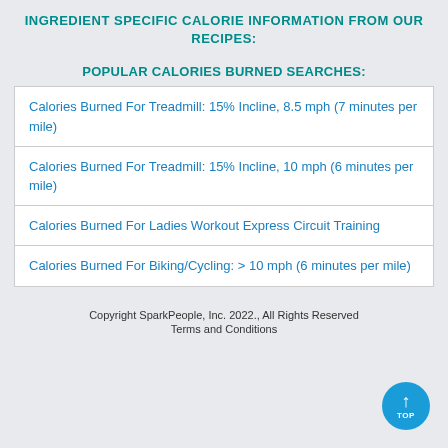INGREDIENT SPECIFIC CALORIE INFORMATION FROM OUR RECIPES:
POPULAR CALORIES BURNED SEARCHES:
Calories Burned For Treadmill: 15% Incline, 8.5 mph (7 minutes per mile)
Calories Burned For Treadmill: 15% Incline, 10 mph (6 minutes per mile)
Calories Burned For Ladies Workout Express Circuit Training
Calories Burned For Biking/Cycling: > 10 mph (6 minutes per mile)
Copyright SparkPeople, Inc. 2022., All Rights Reserved
Terms and Conditions